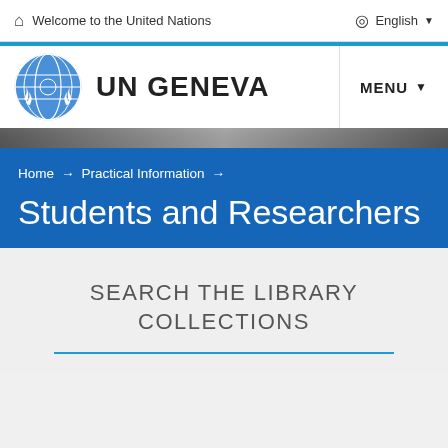Welcome to the United Nations
English
[Figure (logo): UN Geneva logo with UN emblem and text UN GENEVA]
MENU
[Figure (photo): Dark photo strip showing a conference room]
Home → Practical Information →
Students and Researchers
SEARCH THE LIBRARY COLLECTIONS